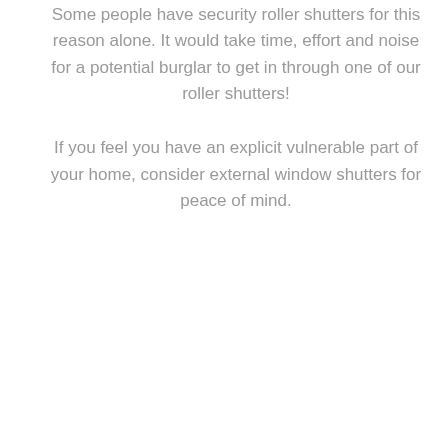Some people have security roller shutters for this reason alone. It would take time, effort and noise for a potential burglar to get in through one of our roller shutters!
If you feel you have an explicit vulnerable part of your home, consider external window shutters for peace of mind.